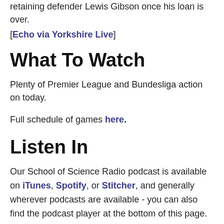retaining defender Lewis Gibson once his loan is over. [Echo via Yorkshire Live]
What To Watch
Plenty of Premier League and Bundesliga action on today.
Full schedule of games here.
Listen In
Our School of Science Radio podcast is available on iTunes, Spotify, or Stitcher, and generally wherever podcasts are available - you can also find the podcast player at the bottom of this page.
Follow Us